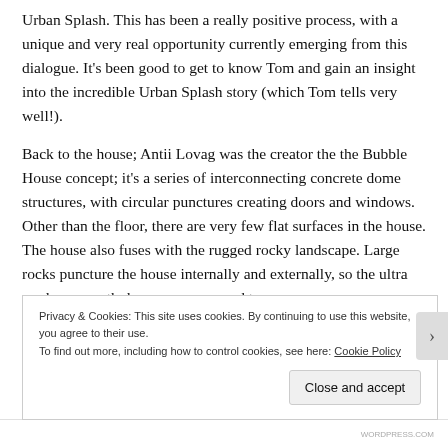Urban Splash. This has been a really positive process, with a unique and very real opportunity currently emerging from this dialogue. It's been good to get to know Tom and gain an insight into the incredible Urban Splash story (which Tom tells very well!).
Back to the house; Antii Lovag was the creator the the Bubble House concept; it's a series of interconnecting concrete dome structures, with circular punctures creating doors and windows. Other than the floor, there are very few flat surfaces in the house. The house also fuses with the rugged rocky landscape. Large rocks puncture the house internally and externally, so the ultra modern smooth domes wrap around t t
Privacy & Cookies: This site uses cookies. By continuing to use this website, you agree to their use.
To find out more, including how to control cookies, see here: Cookie Policy
Close and accept